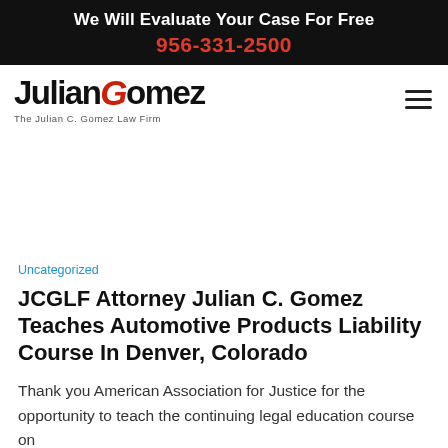We Will Evaluate Your Case For Free
956-331-2500
[Figure (logo): Julian Gomez - The Julian C. Gomez Law Firm logo with stylized text and red circular G mark]
Uncategorized
JCGLF Attorney Julian C. Gomez Teaches Automotive Products Liability Course In Denver, Colorado
Thank you American Association for Justice for the opportunity to teach the continuing legal education course on